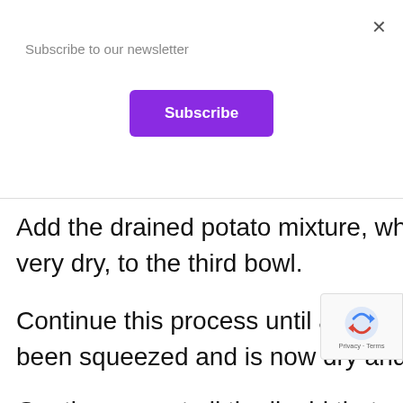Subscribe to our newsletter
Subscribe
Add the drained potato mixture, which very dry, to the third bowl.
Continue this process until all the poto been squeezed and is now dry and in t
Gently pour out all the liquid that was the first two bowls until you rea that has accumulated on the bottom.